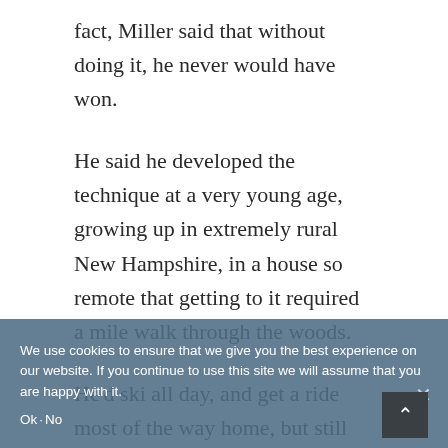fact, Miller said that without doing it, he never would have won.
He said he developed the technique at a very young age, growing up in extremely rural New Hampshire, in a house so remote that getting to it required a mile walk through the woods.
He'd ski all day, and get a ride most of the way home, but still have to travel that last stretch in the dark.
“I’d walk home through the woods by myself at 5 or 6 years old, and there was a huge fear aspect, right?” he said. “There’s no street lights ... 90 percent of the time, no flashlight or anything come through, I would tell myself these stories.
We use cookies to ensure that we give you the best experience on our website. If you continue to use this site we will assume that you are happy with it.
Ok No